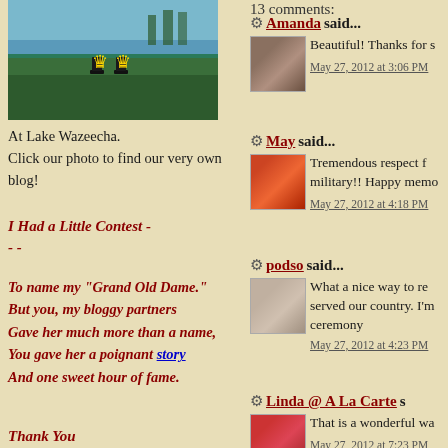[Figure (photo): Photo of two chess king pieces at Lake Wazeecha, on a green surface near water]
At Lake Wazeecha.
Click our photo to find our very own blog!
I Had a Little Contest - - -
To name my "Grand Old Dame."
But you, my bloggy partners
Gave her much more than a name,
You gave her a poignant story
And one sweet hour of fame.
Thank You
13 comments:
Amanda said...
Beautiful! Thanks for s
May 27, 2012 at 3:06 PM
May said...
Tremendous respect f military!! Happy memo
May 27, 2012 at 4:18 PM
podso said...
What a nice way to re served our country. I'm ceremony
May 27, 2012 at 4:23 PM
Linda @ A La Carte s
That is a wonderful wa
May 27, 2012 at 7:23 PM